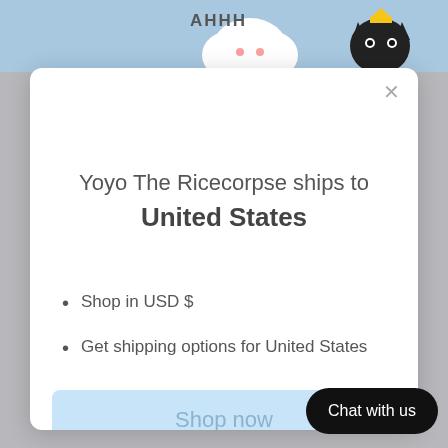[Figure (screenshot): Top portion showing cartoon image with characters (white cloud-like character and black cat) on a light blue background, partially visible behind modal]
Yoyo The Ricecorpse ships to United States
Shop in USD $
Get shipping options for United States
Shop now
Change shipping cou...
Chat with us